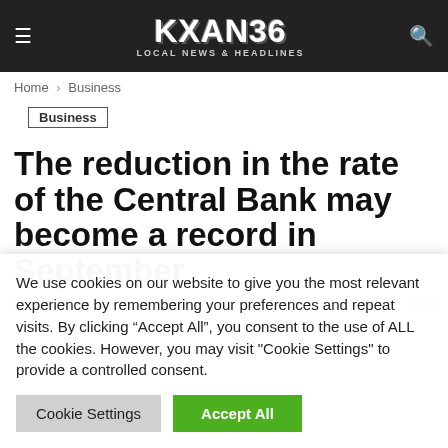KXAN36 LOCAL NEWS & HEADLINES
Home > Business
Business
The reduction in the rate of the Central Bank may become a record in September
By Jennifer Alvarez - 19/06/2020 277 0
We use cookies on our website to give you the most relevant experience by remembering your preferences and repeat visits. By clicking “Accept All”, you consent to the use of ALL the cookies. However, you may visit "Cookie Settings" to provide a controlled consent.